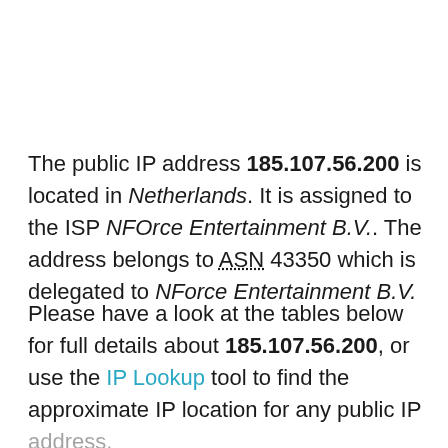The public IP address 185.107.56.200 is located in Netherlands. It is assigned to the ISP NFOrce Entertainment B.V.. The address belongs to ASN 43350 which is delegated to NForce Entertainment B.V.
Please have a look at the tables below for full details about 185.107.56.200, or use the IP Lookup tool to find the approximate IP location for any public IP address.